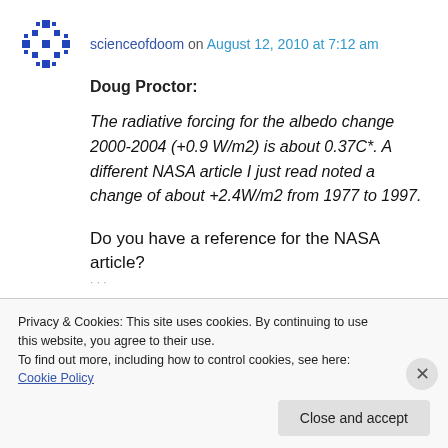scienceofdoom on August 12, 2010 at 7:12 am
Doug Proctor:
The radiative forcing for the albedo change 2000-2004 (+0.9 W/m2) is about 0.37C*. A different NASA article I just read noted a change of about +2.4W/m2 from 1977 to 1997.
Do you have a reference for the NASA article?
Privacy & Cookies: This site uses cookies. By continuing to use this website, you agree to their use.
To find out more, including how to control cookies, see here: Cookie Policy